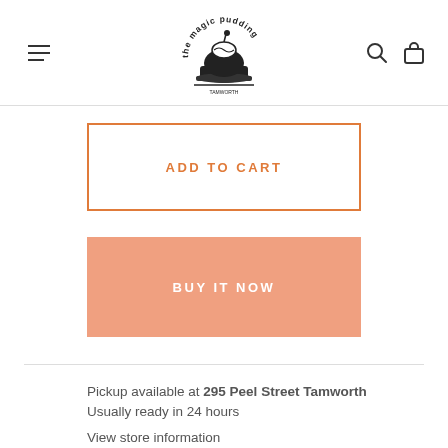[Figure (logo): The Magic Pudding logo — circular text reading 'the magic pudding' around a pudding illustration]
ADD TO CART
BUY IT NOW
Pickup available at 295 Peel Street Tamworth
Usually ready in 24 hours
View store information